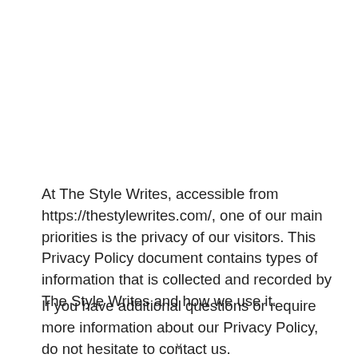At The Style Writes, accessible from https://thestylewrites.com/, one of our main priorities is the privacy of our visitors. This Privacy Policy document contains types of information that is collected and recorded by The Style Writes and how we use it.
If you have additional questions or require more information about our Privacy Policy, do not hesitate to contact us.
v